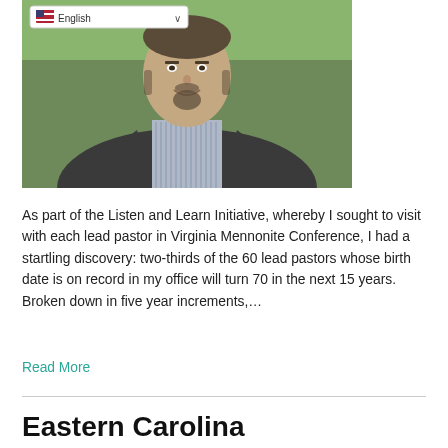[Figure (photo): Headshot of a middle-aged man with a goatee wearing a dark jacket and striped shirt, outdoors with trees in background. A language selector dropdown showing 'English' with a US flag is overlaid at the top-left of the image.]
As part of the Listen and Learn Initiative, whereby I sought to visit with each lead pastor in Virginia Mennonite Conference, I had a startling discovery: two-thirds of the 60 lead pastors whose birth date is on record in my office will turn 70 in the next 15 years. Broken down in five year increments,…
Read More
Eastern Carolina congregations